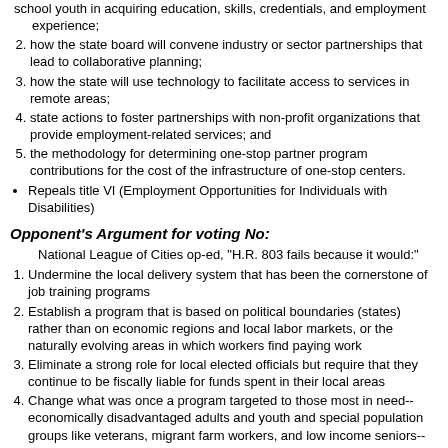school youth in acquiring education, skills, credentials, and employment experience;
how the state board will convene industry or sector partnerships that lead to collaborative planning;
how the state will use technology to facilitate access to services in remote areas;
state actions to foster partnerships with non-profit organizations that provide employment-related services; and
the methodology for determining one-stop partner program contributions for the cost of the infrastructure of one-stop centers.
Repeals title VI (Employment Opportunities for Individuals with Disabilities)
Opponent's Argument for voting No:
National League of Cities op-ed, "H.R. 803 fails because it would:"
Undermine the local delivery system that has been the cornerstone of job training programs
Establish a program that is based on political boundaries (states) rather than on economic regions and local labor markets, or the naturally evolving areas in which workers find paying work
Eliminate a strong role for local elected officials but require that they continue to be fiscally liable for funds spent in their local areas
Change what was once a program targeted to those most in need--economically disadvantaged adults and youth and special population groups like veterans, migrant farm workers, and low income seniors--into a block grant to governors
Contribute to the emerging division between those American's who have the requisite skills to find employment and those who do not.
Reference: SKILLS Act; Bill H.R. 803 ; vote number 13-HV075 on Mar 15, 2013
Supports tax incentives for job creation.